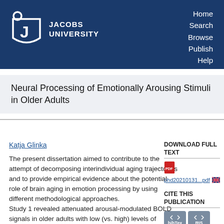[Figure (logo): Jacobs University logo with navigation links (Home, Search, Browse, Publish, Help) on dark blue header background]
Neural Processing of Emotionally Arousing Stimuli in Older Adults
Katja Glinka
The present dissertation aimed to contribute to the attempt of decomposing interindividual aging trajectories and to provide empirical evidence about the potential role of brain aging in emotion processing by using different methodological approaches.
Study 1 revealed attenuated arousal-modulated BOLD signals in older adults with low (vs. high) levels of executive
DOWNLOAD FULL TEXT
phd20210131...pdf
CITE THIS PUBLICATION
Citable URL (?):